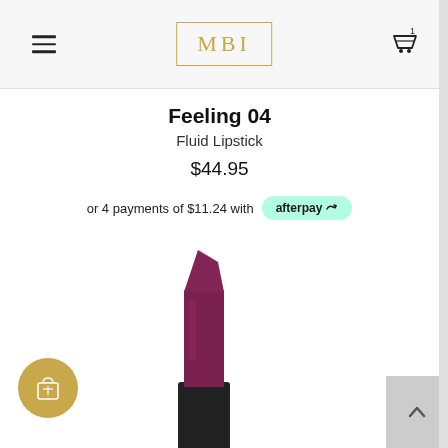MBI
Feeling 04
Fluid Lipstick
$44.95
or 4 payments of $11.24 with afterpay
[Figure (photo): A purple/berry fluid lipstick bullet on a black case, partially visible at bottom of page. Next to it is a gold circle icon button with a shopping bag icon.]